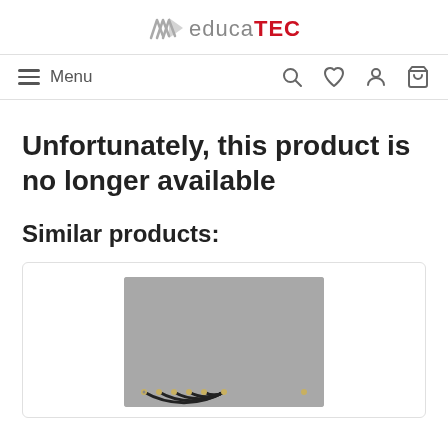[Figure (logo): educaTEC logo with stylized arrow icon, 'educa' in gray and 'TEC' in red]
Menu | Search | Wishlist | Account | Cart
Unfortunately, this product is no longer available
Similar products:
[Figure (photo): Photo of semicircular wire arcs (induction coils) of varying sizes arranged on a gray background]